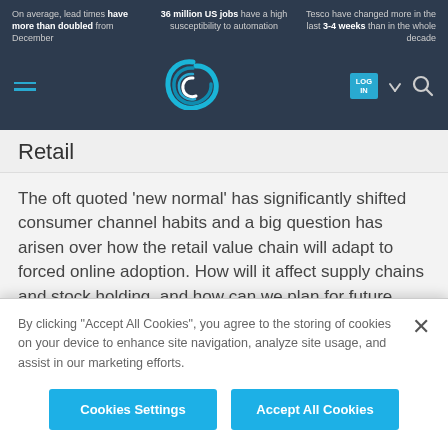On average, lead times have more than doubled from December | 36 million US jobs have a high susceptibility to automation | Tesco have changed more in the last 3-4 weeks than in the whole decade
[Figure (logo): C-suite style swirl logo in teal/white on dark navy navigation bar]
Retail
The oft quoted ‘new normal’ has significantly shifted consumer channel habits and a big question has arisen over how the retail value chain will adapt to forced online adoption. How will it affect supply chains and stock holding, and how can we plan for future crisis scenarios? What industries will switch to delivery business models
By clicking “Accept All Cookies”, you agree to the storing of cookies on your device to enhance site navigation, analyze site usage, and assist in our marketing efforts.